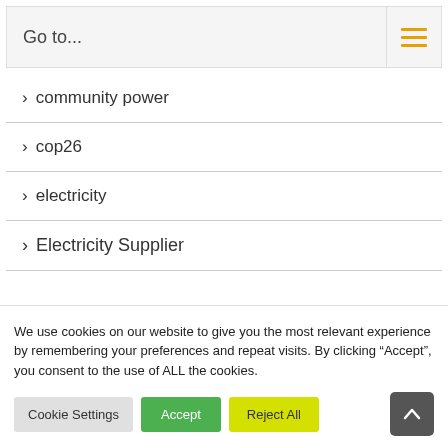Go to...
> community power
> cop26
> electricity
> Electricity Supplier
We use cookies on our website to give you the most relevant experience by remembering your preferences and repeat visits. By clicking “Accept”, you consent to the use of ALL the cookies.